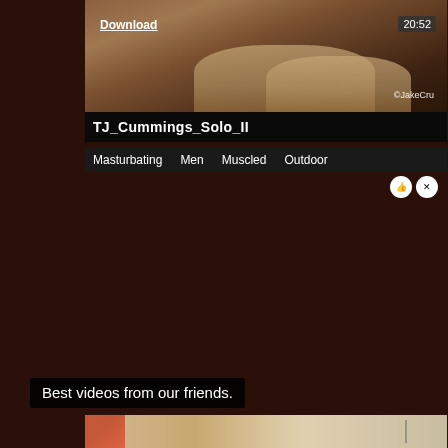[Figure (screenshot): Partial video thumbnail showing feet/legs on a floor surface]
Download
20:52
@JakeCru
TJ_Cummings_Solo_II
Masturbating   Men   Muscled   Outdoor
Best videos from our friends.
[Figure (screenshot): Partial video thumbnail showing objects on a light surface]